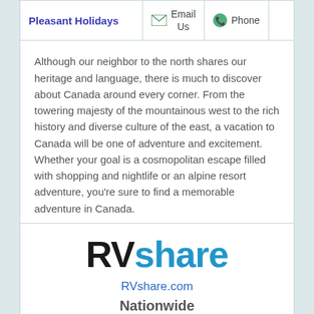| Pleasant Holidays | Email Us | Phone |  |
| --- | --- | --- | --- |
| Although our neighbor to the north shares our heritage and language, there is much to discover about Canada around every corner. From the towering majesty of the mountainous west to the rich history and diverse culture of the east, a vacation to Canada will be one of adventure and excitement. Whether your goal is a cosmopolitan escape filled with shopping and nightlife or an alpine resort adventure, you're sure to find a memorable adventure in Canada. |
| RVshare | RVshare.com | Nationwide | RVshare.com | Phone | Reviews |
| --- | --- | --- | --- | --- | --- |